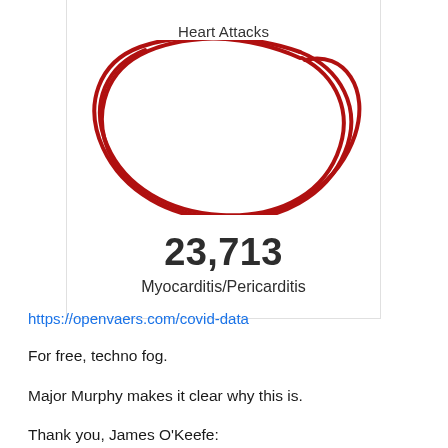Heart Attacks
[Figure (illustration): Dark red hand-drawn scribble circle/loop annotation overlaid on a card]
23,713
Myocarditis/Pericarditis
https://openvaers.com/covid-data
For free, techno fog.
Major Murphy makes it clear why this is.
Thank you, James O'Keefe: